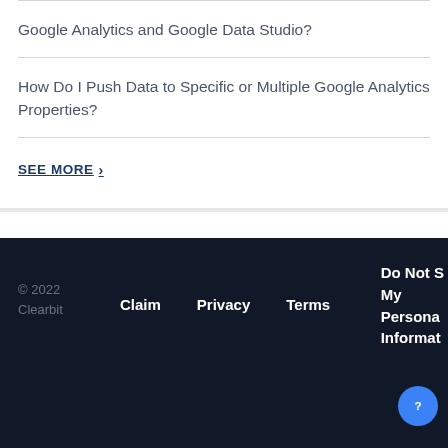Google Analytics and Google Data Studio?
How Do I Push Data to Specific or Multiple Google Analytics Properties?
SEE MORE >
© 2022 Clearbit   Claim   Privacy   Terms   Do Not Sell My Personal Information